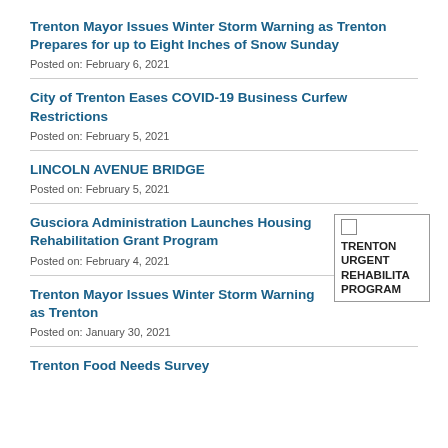Trenton Mayor Issues Winter Storm Warning as Trenton Prepares for up to Eight Inches of Snow Sunday
Posted on: February 6, 2021
City of Trenton Eases COVID-19 Business Curfew Restrictions
Posted on: February 5, 2021
LINCOLN AVENUE BRIDGE
Posted on: February 5, 2021
Gusciora Administration Launches Housing Rehabilitation Grant Program
Posted on: February 4, 2021
[Figure (other): Sidebar box with checkbox and text: TRENTON URGENT REHABILITATION PROGRAM]
Trenton Mayor Issues Winter Storm Warning as Trenton
Posted on: January 30, 2021
Trenton Food Needs Survey